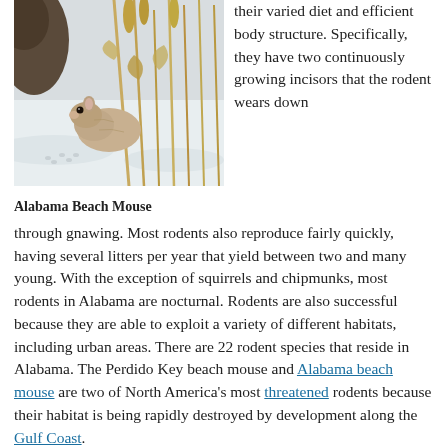[Figure (photo): Photograph of an Alabama Beach Mouse among corn stalks in snow]
Alabama Beach Mouse
their varied diet and efficient body structure. Specifically, they have two continuously growing incisors that the rodent wears down through gnawing. Most rodents also reproduce fairly quickly, having several litters per year that yield between two and many young. With the exception of squirrels and chipmunks, most rodents in Alabama are nocturnal. Rodents are also successful because they are able to exploit a variety of different habitats, including urban areas. There are 22 rodent species that reside in Alabama. The Perdido Key beach mouse and Alabama beach mouse are two of North America's most threatened rodents because their habitat is being rapidly destroyed by development along the Gulf Coast.
Bats (Order Chiroptera)
Bats are the only mammals that
[Figure (photo): Photograph of a bat, partially visible at bottom right]